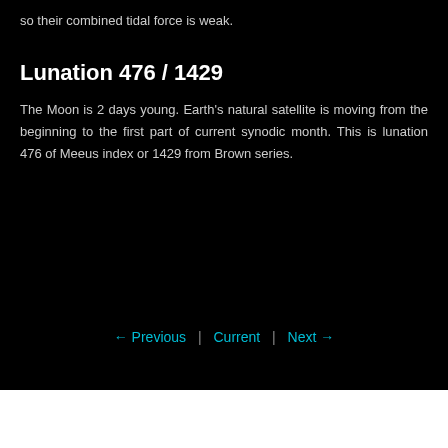so their combined tidal force is weak.
Lunation 476 / 1429
The Moon is 2 days young. Earth's natural satellite is moving from the beginning to the first part of current synodic month. This is lunation 476 of Meeus index or 1429 from Brown series.
← Previous  |  Current  |  Next →